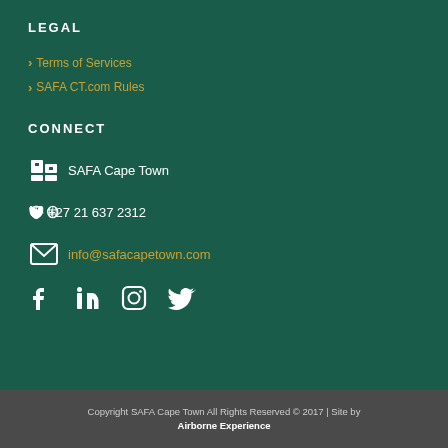LEGAL
Terms of Services
SAFA CT.com Rules
CONNECT
SAFA Cape Town
+27 21 637 2312
info@safacapetown.com
[Figure (other): Social media icons: Facebook, LinkedIn, Instagram, Twitter]
Copyright SAFA Cape Town All Rights Reserved © 2017 | Site by Airborne Experience